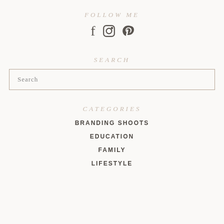FOLLOW ME
[Figure (illustration): Social media icons: Facebook (f), Instagram (camera/circle), Pinterest (p)]
SEARCH
Search
CATEGORIES
BRANDING SHOOTS
EDUCATION
FAMILY
LIFESTYLE